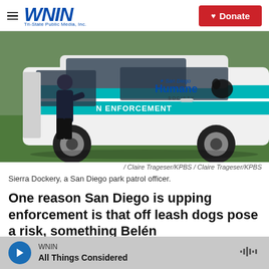WNIN Tri-State Public Media, Inc. | Donate
[Figure (photo): A San Diego Humane Society law enforcement vehicle with an officer standing by the open driver door, outdoors on grass.]
/ Claire Trageser/KPBS  /  Claire Trageser/KPBS
Sierra Dockery, a San Diego park patrol officer.
One reason San Diego is upping enforcement is that off leash dogs pose a risk, something Belén
WNIN | All Things Considered